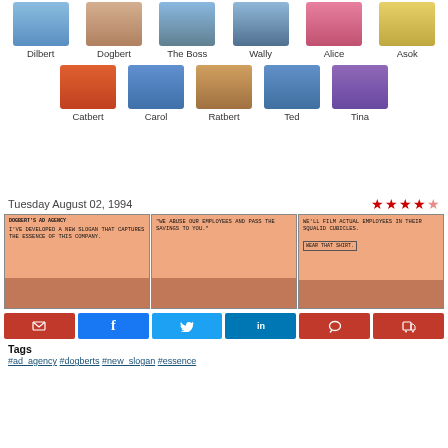[Figure (illustration): Character thumbnails row 1: Dilbert, Dogbert, The Boss, Wally, Alice, Asok]
[Figure (illustration): Character thumbnails row 2: Catbert, Carol, Ratbert, Ted, Tina]
Tuesday August 02, 1994
[Figure (illustration): Dilbert comic strip from Tuesday August 02 1994 with 3 panels. Panel 1: Dogbert's Ad Agency - I've developed a new slogan that captures the essence of this company. Panel 2: 'We abuse our employees and pass the savings to you.' Panel 3: We'll film actual employees in their squalid cubicles. Wear that shirt.]
[Figure (other): Social sharing buttons: email, Facebook, Twitter, LinkedIn, comment, cart]
Tags
#ad_agency  #dogberts  #new_slogan  #essence